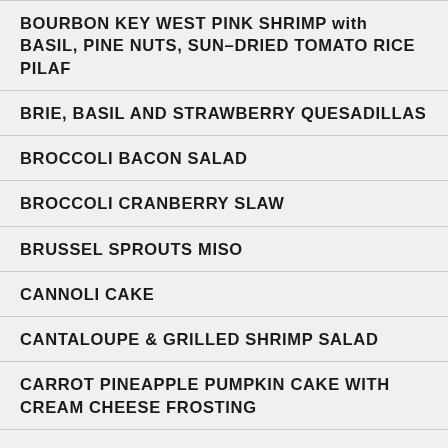BOURBON KEY WEST PINK SHRIMP with BASIL, PINE NUTS, SUN–DRIED TOMATO RICE PILAF
BRIE, BASIL AND STRAWBERRY QUESADILLAS
BROCCOLI BACON SALAD
BROCCOLI CRANBERRY SLAW
BRUSSEL SPROUTS MISO
CANNOLI CAKE
CANTALOUPE & GRILLED SHRIMP SALAD
CARROT PINEAPPLE PUMPKIN CAKE WITH CREAM CHEESE FROSTING